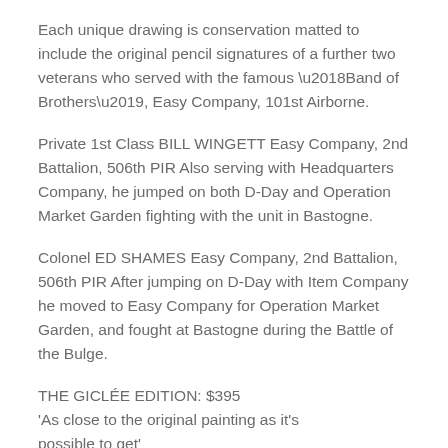Each unique drawing is conservation matted to include the original pencil signatures of a further two veterans who served with the famous ‘Band of Brothers’, Easy Company, 101st Airborne.
Private 1st Class BILL WINGETT Easy Company, 2nd Battalion, 506th PIR Also serving with Headquarters Company, he jumped on both D-Day and Operation Market Garden fighting with the unit in Bastogne.
Colonel ED SHAMES Easy Company, 2nd Battalion, 506th PIR After jumping on D-Day with Item Company he moved to Easy Company for Operation Market Garden, and fought at Bastogne during the Battle of the Bulge.
THE GICLÉE EDITION: $395 ‘As close to the original painting as it’s possible to get’